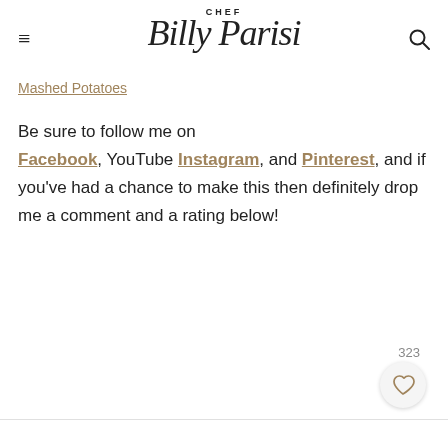CHEF Billy Parisi
Mashed Potatoes
Be sure to follow me on Facebook, YouTube Instagram, and Pinterest, and if you've had a chance to make this then definitely drop me a comment and a rating below!